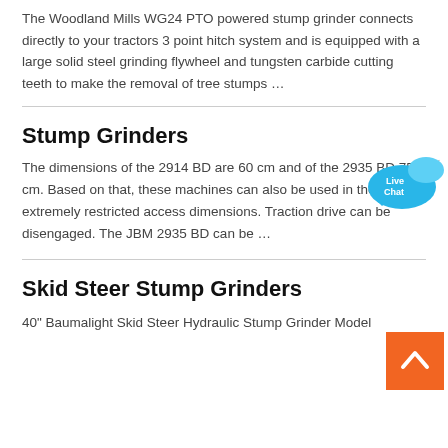The Woodland Mills WG24 PTO powered stump grinder connects directly to your tractors 3 point hitch system and is equipped with a large solid steel grinding flywheel and tungsten carbide cutting teeth to make the removal of tree stumps …
Stump Grinders
[Figure (illustration): Live Chat bubble icon in blue with white text 'Live Chat']
The dimensions of the 2914 BD are 60 cm and of the 2935 BD 75 cm. Based on that, these machines can also be used in the case of extremely restricted access dimensions. Traction drive can be disengaged. The JBM 2935 BD can be …
[Figure (illustration): Back to top button, orange square with white upward chevron arrow]
Skid Steer Stump Grinders
40" Baumalight Skid Steer Hydraulic Stump Grinder Model